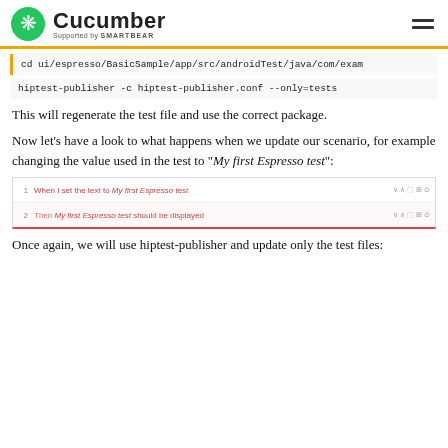Cucumber — Supported by SMARTBEAR
cd ui/espresso/BasicSample/app/src/androidTest/java/com/exam
hiptest-publisher -c hiptest-publisher.conf --only=tests
This will regenerate the test file and use the correct package.
Now let's have a look to what happens when we update our scenario, for example changing the value used in the test to "My first Espresso test":
[Figure (screenshot): Screenshot of a test editor showing two steps: 1. When I set the text to My first Espresso test, 2. Then My first Espresso test should be displayed, with a red border at bottom.]
Once again, we will use hiptest-publisher and update only the test files: